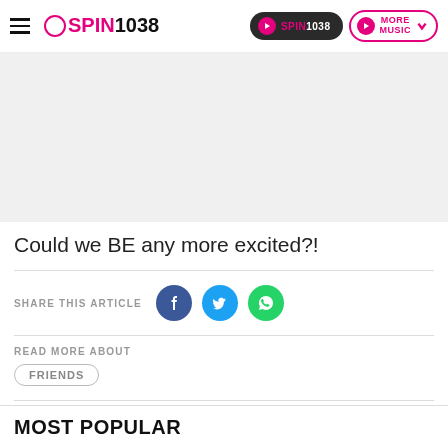SPIN1038 — Navigation bar with logo and play buttons
[Figure (photo): Light grey image placeholder area]
Could we BE any more excited?!
SHARE THIS ARTICLE
READ MORE ABOUT
FRIENDS
MOST POPULAR